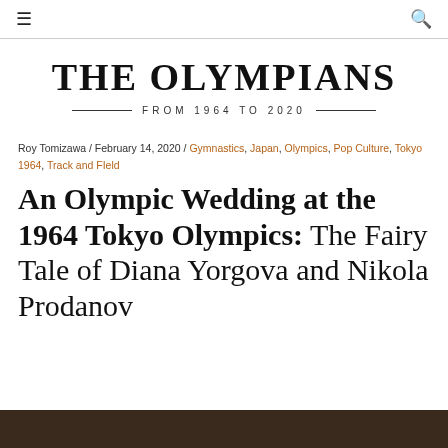☰  🔍
THE OLYMPIANS
FROM 1964 TO 2020
Roy Tomizawa / February 14, 2020 / Gymnastics, Japan, Olympics, Pop Culture, Tokyo 1964, Track and FIeld
An Olympic Wedding at the 1964 Tokyo Olympics: The Fairy Tale of Diana Yorgova and Nikola Prodanov
[Figure (photo): Bottom strip showing a partial photo, dark brown tones]